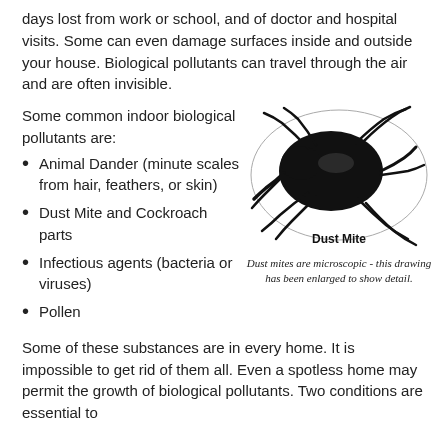days lost from work or school, and of doctor and hospital visits. Some can even damage surfaces inside and outside your house. Biological pollutants can travel through the air and are often invisible.
Some common indoor biological pollutants are:
[Figure (illustration): Black and white drawing of a dust mite, enlarged to show detail, labeled 'Dust Mite'. Caption reads: Dust mites are microscopic - this drawing has been enlarged to show detail.]
Animal Dander (minute scales from hair, feathers, or skin)
Dust Mite and Cockroach parts
Infectious agents (bacteria or viruses)
Pollen
Some of these substances are in every home. It is impossible to get rid of them all. Even a spotless home may permit the growth of biological pollutants. Two conditions are essential to